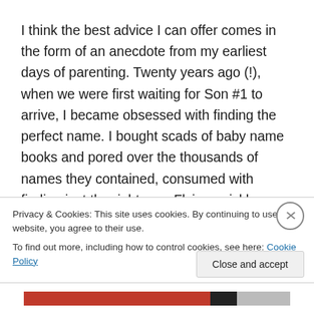I think the best advice I can offer comes in the form of an anecdote from my earliest days of parenting. Twenty years ago (!), when we were first waiting for Son #1 to arrive, I became obsessed with finding the perfect name. I bought scads of baby name books and pored over the thousands of names they contained, consumed with finding just the right one. Flying quickly through the cute and charming phases to the annoying and alarming phases, and landing finally at the “This-is-utterly-ridiculous” phase of the baby-naming process, I was able to curb my research urges
Privacy & Cookies: This site uses cookies. By continuing to use this website, you agree to their use.
To find out more, including how to control cookies, see here: Cookie Policy
Close and accept